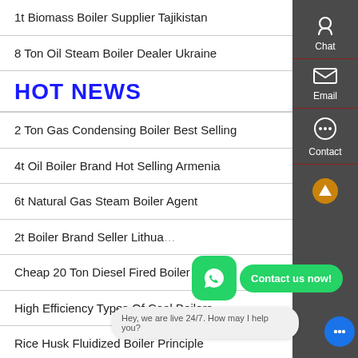1t Biomass Boiler Supplier Tajikistan
8 Ton Oil Steam Boiler Dealer Ukraine
HOT NEWS
2 Ton Gas Condensing Boiler Best Selling
4t Oil Boiler Brand Hot Selling Armenia
6t Natural Gas Steam Boiler Agent
2t Boiler Brand Seller Lithuania
Cheap 20 Ton Diesel Fired Boiler Georgia
High Efficiency Types Of Coal Boilers
Rice Husk Fluidized Boiler Principle